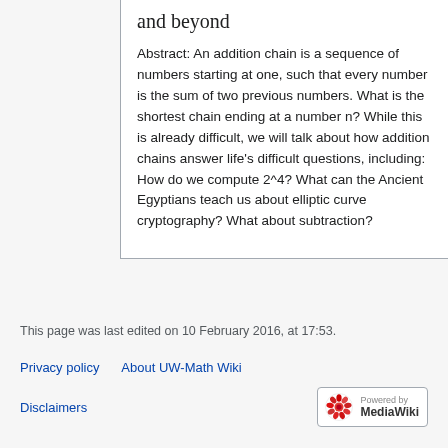and beyond
Abstract: An addition chain is a sequence of numbers starting at one, such that every number is the sum of two previous numbers. What is the shortest chain ending at a number n? While this is already difficult, we will talk about how addition chains answer life's difficult questions, including: How do we compute 2^4? What can the Ancient Egyptians teach us about elliptic curve cryptography? What about subtraction?
This page was last edited on 10 February 2016, at 17:53.
Privacy policy   About UW-Math Wiki   Disclaimers